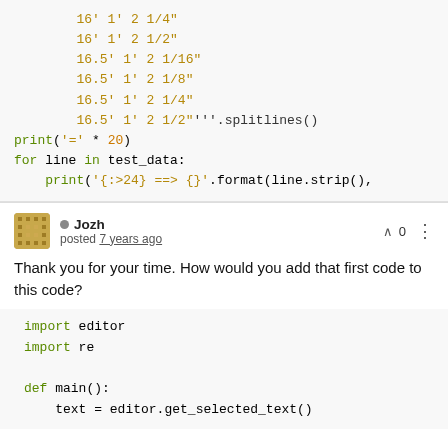Code block showing Python string data and splitlines() call, print statements and for loop
Jozh posted 7 years ago — vote 0
Thank you for your time. How would you add that first code to this code?
import editor
import re

def main():
    text = editor.get_selected_text()